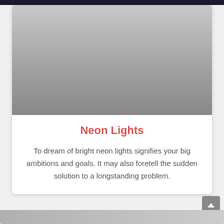[Figure (photo): A large image area with a gray gradient background, representing a photo of neon lights (content not visible, shown as gray gradient).]
Neon Lights
To dream of bright neon lights signifies your big ambitions and goals. It may also foretell the sudden solution to a longstanding problem.